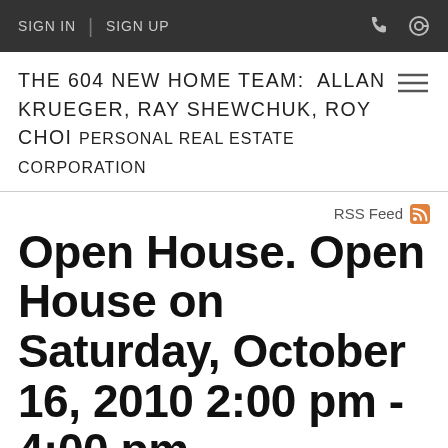SIGN IN | SIGN UP
THE 604 NEW HOME TEAM: ALLAN KRUEGER, RAY SHEWCHUK, ROY CHOI PERSONAL REAL ESTATE CORPORATION
RSS Feed
Open House. Open House on Saturday, October 16, 2010 2:00 pm - 4:00 pm
Posted on October 16, 2010 by Allan Krueger (Keller Williams Results Realty)